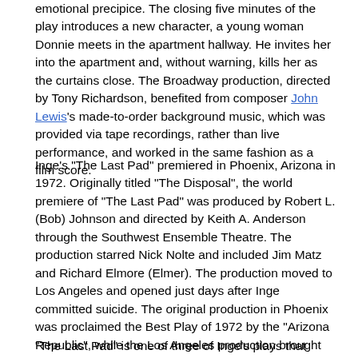emotional precipice. The closing five minutes of the play introduces a new character, a young woman Donnie meets in the apartment hallway. He invites her into the apartment and, without warning, kills her as the curtains close. The Broadway production, directed by Tony Richardson, benefited from composer John Lewis's made-to-order background music, which was provided via tape recordings, rather than live performance, and worked in the same fashion as a film score.
Inge's "The Last Pad" premiered in Phoenix, Arizona in 1972. Originally titled "The Disposal", the world premiere of "The Last Pad" was produced by Robert L. (Bob) Johnson and directed by Keith A. Anderson through the Southwest Ensemble Theatre. The production starred Nick Nolte and included Jim Matz and Richard Elmore (Elmer). The production moved to Los Angeles and opened just days after Inge committed suicide. The original production in Phoenix was proclaimed the Best Play of 1972 by the "Arizona Republic", while the Los Angeles production brought awards to Nick Nolte and helped introduce him to the film industry and his subsequent film career.
"The Last Pad" is one of three of Inge's plays that either have openly gay characters or address homosexuality directly. "The Boy...